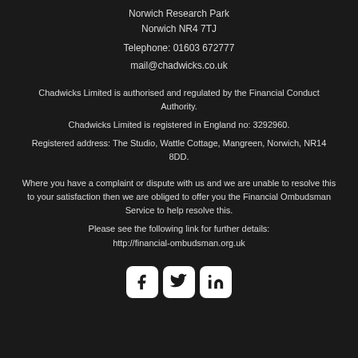Norwich Research Park
Norwich NR4 7TJ
Telephone: 01603 672777
mail@chadwicks.co.uk
Chadwicks Limited is authorised and regulated by the Financial Conduct Authority.
Chadwicks Limited is registered in England no: 3292960.
Registered address: The Studio, Wattle Cottage, Mangreen, Norwich, NR14 8DD.
Where you have a complaint or dispute with us and we are unable to resolve this to your satisfaction then we are obliged to offer you the Financial Ombudsman Service to help resolve this.
Please see the following link for further details:
http://financial-ombudsman.org.uk
[Figure (illustration): Social media icons for Facebook, Twitter, and LinkedIn displayed as white rounded square buttons on dark background]